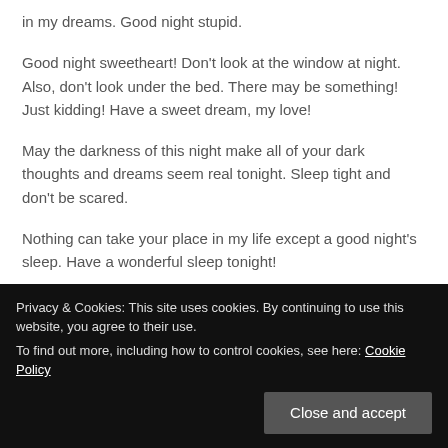in my dreams. Good night stupid.
Good night sweetheart! Don't look at the window at night. Also, don't look under the bed. There may be something! Just kidding! Have a sweet dream, my love!
May the darkness of this night make all of your dark thoughts and dreams seem real tonight. Sleep tight and don't be scared.
Nothing can take your place in my life except a good night's sleep. Have a wonderful sleep tonight!
Early to bed, early to rise, you will get to meet a friend like me who
Privacy & Cookies: This site uses cookies. By continuing to use this website, you agree to their use.
To find out more, including how to control cookies, see here: Cookie Policy
Close and accept